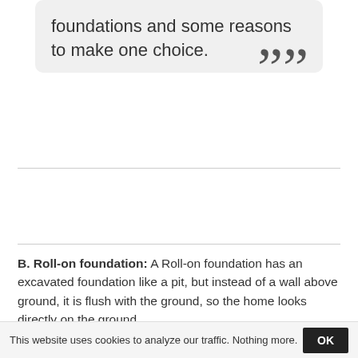foundations and some reasons to make one choice. ””
B. Roll-on foundation: A Roll-on foundation has an excavated foundation like a pit, but instead of a wall above ground, it is flush with the ground, so the home looks directly on the ground.
Pros:
This website uses cookies to analyze our traffic. Nothing more.